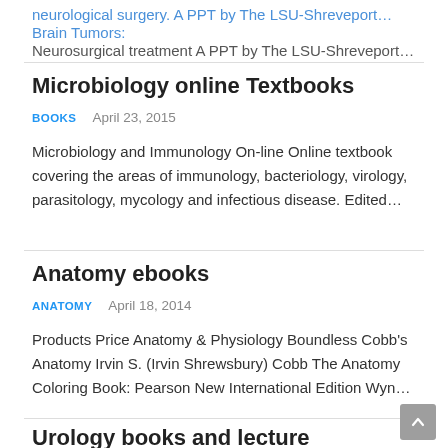neurological surgery. A PPT by The LSU-Shreveport... Neurosurgical treatment A PPT by The LSU-Shreveport...
Microbiology online Textbooks
BOOKS   April 23, 2015
Microbiology and Immunology On-line Online textbook covering the areas of immunology, bacteriology, virology, parasitology,  mycology and infectious disease.  Edited...
Anatomy ebooks
ANATOMY   April 18, 2014
Products Price Anatomy & Physiology  Boundless Cobb's Anatomy  Irvin S. (Irvin Shrewsbury) Cobb The Anatomy Coloring Book: Pearson New International Edition  Wyn...
Urology books and lecture notes